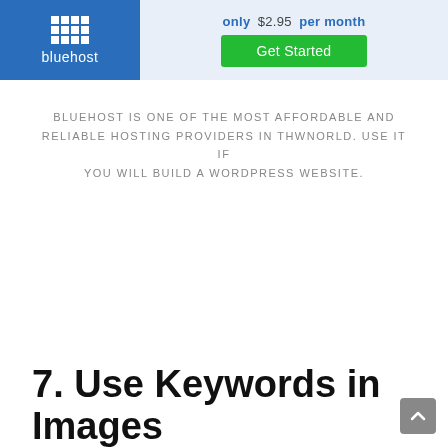[Figure (other): Bluehost advertisement banner showing blue logo with grid icon and 'bluehost' text on left, and 'only $2.95 per month' with a green 'Get Started' button on the right, on a light blue background.]
BLUEHOST IS ONE OF THE MOST AFFORDABLE AND RELIABLE HOSTING PROVIDERS IN THWNORLD. USE IT IF YOU WILL BUILD A WORDPRESS WEBSITE.
7. Use Keywords in Images